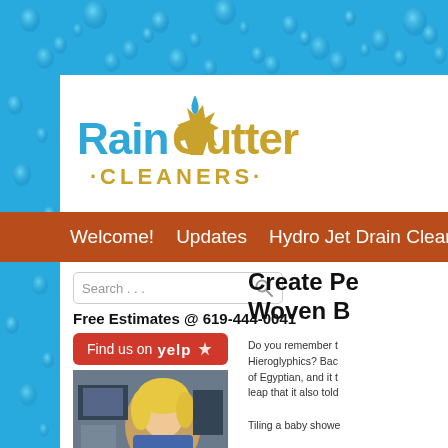[Figure (logo): Rain Gutter Cleaners logo with leaf/droplet icon, blue and gold text]
Welcome!   Updates   Hydro Jet Drain Cleaning
[Figure (screenshot): Search box with placeholder text 'Search . . .']
Free Estimates @ 619-444-0041
[Figure (logo): Find us on Yelp button (red background)]
[Figure (photo): Photo of a woman with blonde hair at a desk]
Create Pe
Woven B
Do you remember t
Hieroglyphics? Bac
of Egyptian, and it t
leap that it also told
Tiling a baby showe